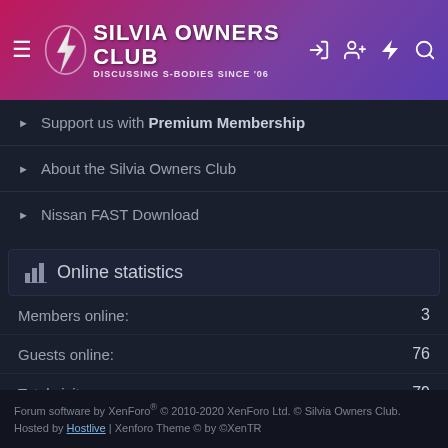SILVIA OWNERS CLUB — Discussing S-Bodies Since '06
Support us with Premium Membership
About the Silvia Owners Club
Nissan FAST Download
Online statistics
| Stat | Value |
| --- | --- |
| Members online: | 3 |
| Guests online: | 76 |
| Total visitors: | 79 |
Totals may include hidden visitors.
Forum software by XenForo® © 2010-2020 XenForo Ltd. © Silvia Owners Club. Hosted by Hostlive | Xenforo Theme © by ©XenTR